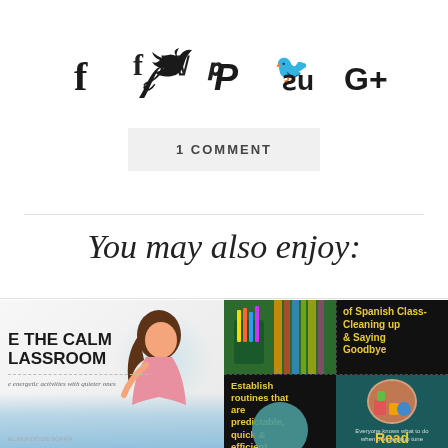[Figure (infographic): Social media sharing icons: Facebook (f), Twitter (bird), Pinterest (P), StumbleUpon (su), Google+ (G+)]
1 COMMENT
You may also enjoy:
[Figure (illustration): Book cover showing 'THE CALM CLASSROOM' with a girl illustration, subtitle about energetic activities with quieter ones]
[Figure (infographic): Pinterest-style grid showing Spanish classroom content: photo of classroom supplies, text 'of Spanish Class- Cleaning up & Saying Goodbye', text 'Establish routines that are predictable, quick & efficient', photo circle of craft supplies, footer text 'Everyone knows what to do when the clean up tune' and 'Read']